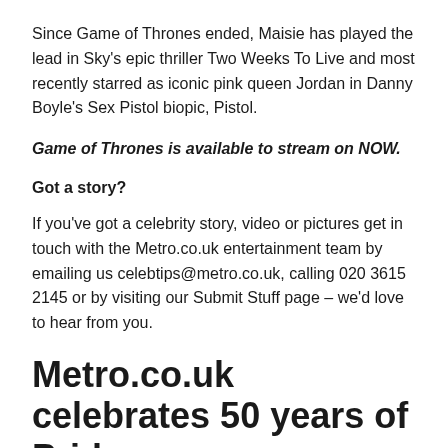Since Game of Thrones ended, Maisie has played the lead in Sky's epic thriller Two Weeks To Live and most recently starred as iconic pink queen Jordan in Danny Boyle's Sex Pistol biopic, Pistol.
Game of Thrones is available to stream on NOW.
Got a story?
If you've got a celebrity story, video or pictures get in touch with the Metro.co.uk entertainment team by emailing us celebtips@metro.co.uk, calling 020 3615 2145 or by visiting our Submit Stuff page – we'd love to hear from you.
Metro.co.uk celebrates 50 years of Pride